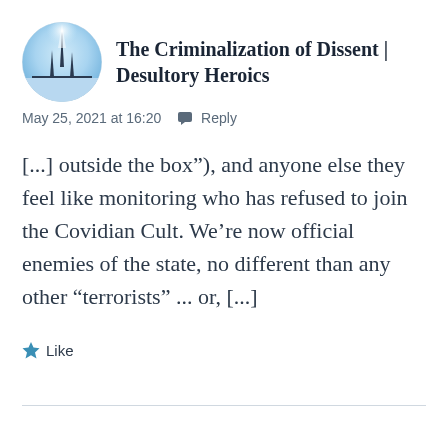[Figure (logo): Circular avatar/logo for Desultory Heroics blog — blue/white sky with dark spire-like building silhouette]
The Criminalization of Dissent | Desultory Heroics
May 25, 2021 at 16:20  💬 Reply
[...] outside the box"), and anyone else they feel like monitoring who has refused to join the Covidian Cult. We're now official enemies of the state, no different than any other “terrorists” ... or, [...]
★ Like